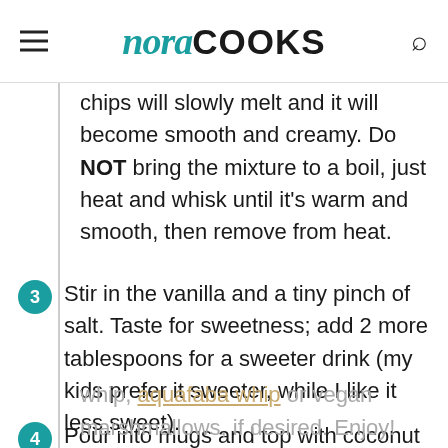nora COOKS
chips will slowly melt and it will become smooth and creamy. Do NOT bring the mixture to a boil, just heat and whisk until it's warm and smooth, then remove from heat.
3. Stir in the vanilla and a tiny pinch of salt. Taste for sweetness; add 2 more tablespoons for a sweeter drink (my kids prefer it sweeter, while I like it less sweet).
4. Pour into mugs and top with coconut whip, aquafaba whip or vegan marshmallows, if desired. Enjoy!